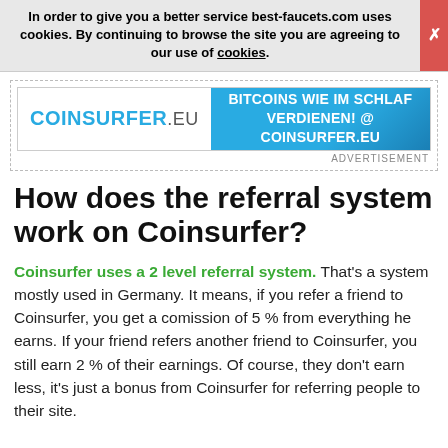In order to give you a better service best-faucets.com uses cookies. By continuing to browse the site you are agreeing to our use of cookies.
[Figure (other): Coinsurfer.eu advertisement banner: BITCOINS WIE IM SCHLAF VERDIENEN! @ COINSURFER.EU]
How does the referral system work on Coinsurfer?
Coinsurfer uses a 2 level referral system. That's a system mostly used in Germany. It means, if you refer a friend to Coinsurfer, you get a comission of 5 % from everything he earns. If your friend refers another friend to Coinsurfer, you still earn 2 % of their earnings. Of course, they don't earn less, it's just a bonus from Coinsurfer for referring people to their site.